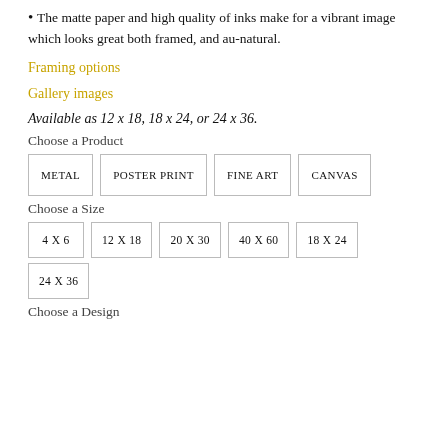The matte paper and high quality of inks make for a vibrant image which looks great both framed, and au-natural.
Framing options
Gallery images
Available as 12 x 18, 18 x 24, or 24 x 36.
Choose a Product
METAL | POSTER PRINT | FINE ART | CANVAS
Choose a Size
4 X 6 | 12 X 18 | 20 X 30 | 40 X 60 | 18 X 24 | 24 X 36
Choose a Design